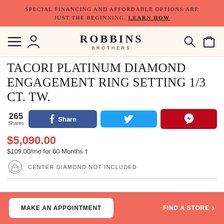SPECIAL FINANCING AND AFFORDABLE OPTIONS ARE JUST THE BEGINNING. LEARN HOW
[Figure (logo): Robbins Brothers logo with hamburger menu icon and person icon on left, search and cart icon on right]
TACORI PLATINUM DIAMOND ENGAGEMENT RING SETTING 1/3 CT. TW.
265 Shares — Share (Facebook), Twitter, Pinterest
$5,090.00
$109.00/mo for 60 Months †
CENTER DIAMOND NOT INCLUDED
MAKE AN APPOINTMENT | FIND A STORE